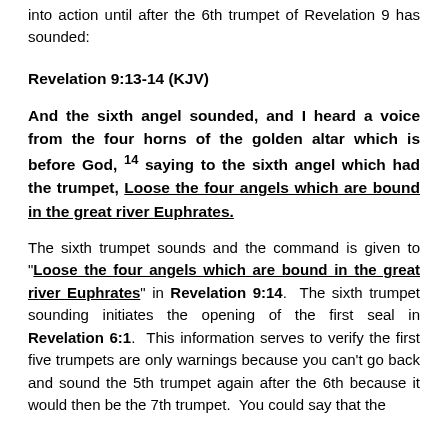into action until after the 6th trumpet of Revelation 9 has sounded:
Revelation 9:13-14 (KJV)
And the sixth angel sounded, and I heard a voice from the four horns of the golden altar which is before God, 14 saying to the sixth angel which had the trumpet, Loose the four angels which are bound in the great river Euphrates.
The sixth trumpet sounds and the command is given to "Loose the four angels which are bound in the great river Euphrates" in Revelation 9:14. The sixth trumpet sounding initiates the opening of the first seal in Revelation 6:1. This information serves to verify the first five trumpets are only warnings because you can't go back and sound the 5th trumpet again after the 6th because it would then be the 7th trumpet. You could say that the